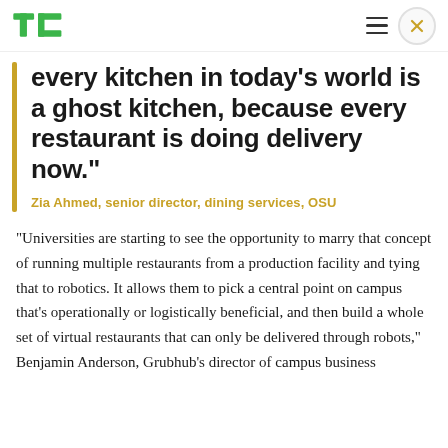TechCrunch logo, hamburger menu, close button
every kitchen in today's world is a ghost kitchen, because every restaurant is doing delivery now."
Zia Ahmed, senior director, dining services, OSU
"Universities are starting to see the opportunity to marry that concept of running multiple restaurants from a production facility and tying that to robotics. It allows them to pick a central point on campus that's operationally or logistically beneficial, and then build a whole set of virtual restaurants that can only be delivered through robots," Benjamin Anderson, Grubhub's director of campus business